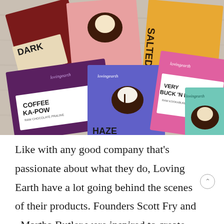[Figure (photo): Overhead photo of multiple Loving Earth chocolate bar packages arranged on a grey wooden surface. Visible labels include Dark, Salted, Coffee Ka-Pow, Very Buck 'N Berry, Haze[lnut], and others. Packages feature colorful designs with illustrations of chocolate bonbons.]
Like with any good company that's passionate about what they do, Loving Earth have a lot going behind the scenes of their products. Founders Scott Fry and Martha Butler were inspired to create their chocolate after returning to Melbourne from Mexico. With a